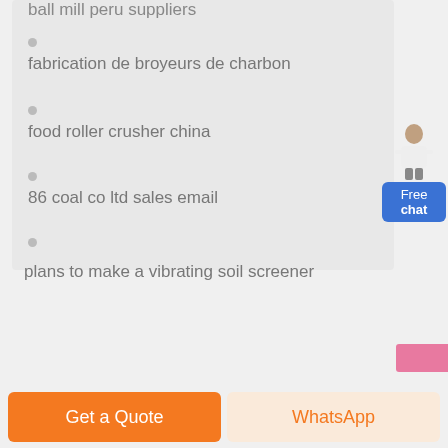ball mill peru suppliers
fabrication de broyeurs de charbon
food roller crusher china
86 coal co ltd sales email
plans to make a vibrating soil screener
Get a Quote
WhatsApp